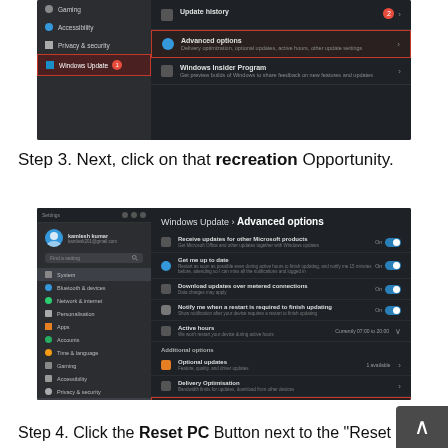[Figure (screenshot): Windows Settings screenshot showing sidebar with Gaming, Accessibility, Privacy & security, Windows Update items, and right panel showing Update history, Advanced options (highlighted with red border), and Windows Insider Program options]
Step 3. Next, click on that recreation Opportunity.
[Figure (screenshot): Windows Settings - Windows Update > Advanced options page showing options: Receive updates for other Microsoft products (On), Get me up to date (On), Download updates over metered connections (On), Notify me when restart required (On), Active hours, Additional options including Optional updates, Delivery Optimization, and Recovery (highlighted with red border)]
Step 4. Click the Reset PC Button next to the "Reset